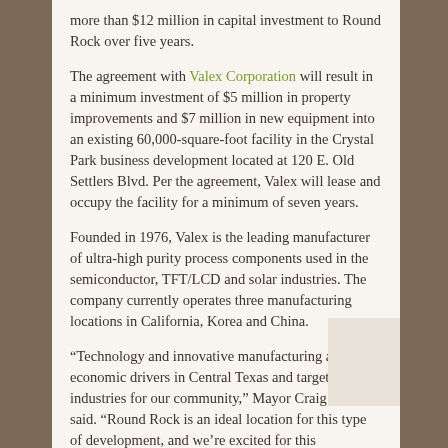more than $12 million in capital investment to Round Rock over five years.
The agreement with Valex Corporation will result in a minimum investment of $5 million in property improvements and $7 million in new equipment into an existing 60,000-square-foot facility in the Crystal Park business development located at 120 E. Old Settlers Blvd. Per the agreement, Valex will lease and occupy the facility for a minimum of seven years.
Founded in 1976, Valex is the leading manufacturer of ultra-high purity process components used in the semiconductor, TFT/LCD and solar industries. The company currently operates three manufacturing locations in California, Korea and China.
“Technology and innovative manufacturing are huge economic drivers in Central Texas and target industries for our community,” Mayor Craig Morgan said. “Round Rock is an ideal location for this type of development, and we’re excited for this opportunity to further diversify our local economy.”
In consideration of Valex completing the obligations